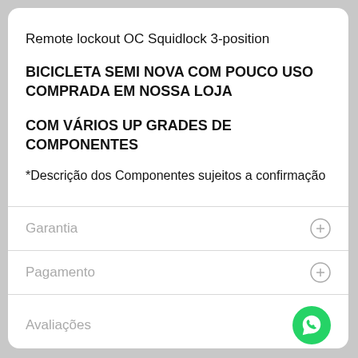Remote lockout OC Squidlock 3-position
BICICLETA SEMI NOVA COM POUCO USO COMPRADA EM NOSSA LOJA
COM VÁRIOS UP GRADES DE COMPONENTES
*Descrição dos Componentes sujeitos a confirmação
Garantia
Pagamento
Avaliações